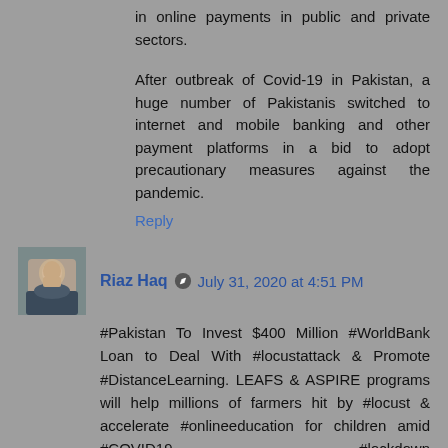in online payments in public and private sectors.
After outbreak of Covid-19 in Pakistan, a huge number of Pakistanis switched to internet and mobile banking and other payment platforms in a bid to adopt precautionary measures against the pandemic.
Reply
Riaz Haq  July 31, 2020 at 4:51 PM
#Pakistan To Invest $400 Million #WorldBank Loan to Deal With #locustattack & Promote #DistanceLearning. LEAFS & ASPIRE programs will help millions of farmers hit by #locust & accelerate #onlineeducation for children amid #COVID19 #lockdown https://reliefweb.int/report/pakistan/pakistan-invests-400-million-manage-locust-outbreak-and-respond-school-disruptions?utm_medium=social&utm_campaign=shared&utm_source=twitter.com via @reliefweb